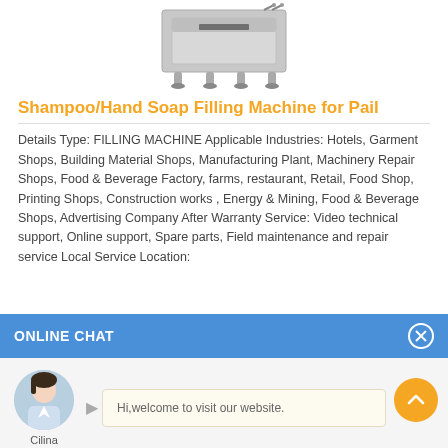[Figure (photo): Shampoo/Hand Soap Filling Machine for Pail — a stainless steel industrial filling machine with legs and hose connections]
Shampoo/Hand Soap Filling Machine for Pail
Details Type: FILLING MACHINE Applicable Industries: Hotels, Garment Shops, Building Material Shops, Manufacturing Plant, Machinery Repair Shops, Food & Beverage Factory, farms, restaurant, Retail, Food Shop, Printing Shops, Construction works , Energy & Mining, Food & Beverage Shops, Advertising Company After Warranty Service: Video technical support, Online support, Spare parts, Field maintenance and repair service Local Service Location: United States
ONLINE CHAT
Hi,welcome to visit our website.
Cilina